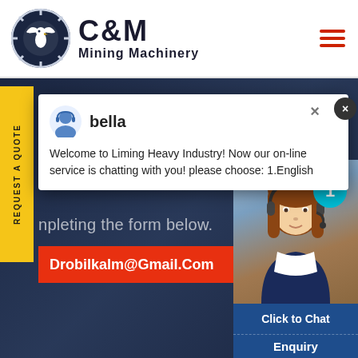[Figure (logo): C&M Mining Machinery logo with gear and eagle icon in navy blue]
[Figure (screenshot): Website screenshot showing C&M Mining Machinery page with live chat popup from 'bella' saying 'Welcome to Liming Heavy Industry! Now our on-line service is chatting with you! please choose: 1.English', email Drobilkalm@Gmail.Com, customer service widget with 'Click to Chat' button and 'Enquiry' section, and a 'Your name' form field]
bella
Welcome to Liming Heavy Industry! Now our on-line service is chatting with you! please choose: 1.English
npleting the form below.
Drobilkalm@Gmail.Com
Click to Chat
Enquiry
Your name